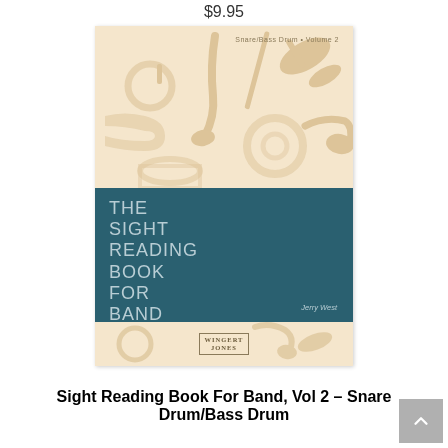$9.95
[Figure (illustration): Book cover of 'The Sight Reading Book For Band' Volume 2 for Snare/Bass Drum by Jerry West, published by Wingert-Jones. The cover has three sections: top cream section with golden musical instrument silhouettes, middle dark teal section with the book title in light blue text, and bottom cream section with the Wingert-Jones publisher logo.]
Sight Reading Book For Band, Vol 2 – Snare Drum/Bass Drum